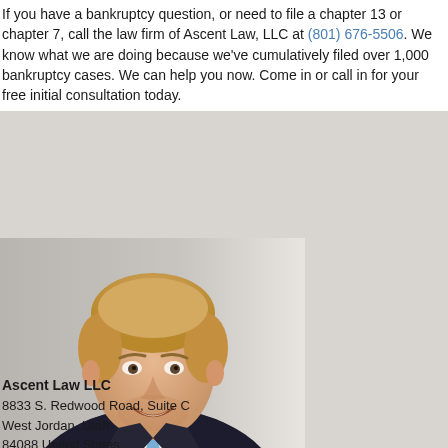If you have a bankruptcy question, or need to file a chapter 13 or chapter 7, call the law firm of Ascent Law, LLC at (801) 676-5506. We know what we are doing because we've cumulatively filed over 1,000 bankruptcy cases. We can help you now. Come in or call in for your free initial consultation today.
[Figure (photo): Professional headshot of a smiling man with short blonde hair wearing a dark pinstripe suit and light blue tie, photographed against a light gray/white background.]
Ascent Law LLC
8833 S. Redwood Road, Suite C
West Jordan, Utah
84088 United States